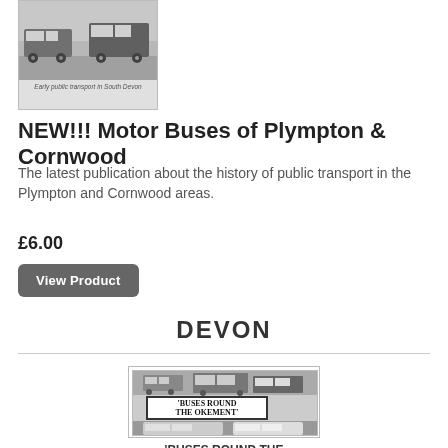[Figure (photo): Book cover thumbnail showing early public transport in South Devon, a black and white photograph with a caption.]
NEW!!! Motor Buses of Plympton & Cornwood
The latest publication about the history of public transport in the Plympton and Cornwood areas.
£6.00
View Product
DEVON
[Figure (photo): Book cover of 'Buses Round the Okement' showing old bus photographs in black and white.]
'BUSES ROUND THE